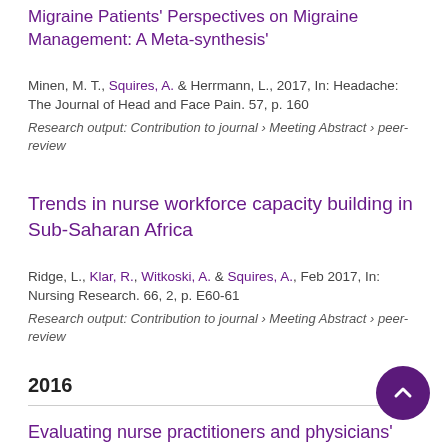Migraine Patients' Perspectives on Migraine Management: A Meta-synthesis'
Minen, M. T., Squires, A. & Herrmann, L., 2017, In: Headache: The Journal of Head and Face Pain. 57, p. 160
Research output: Contribution to journal › Meeting Abstract › peer-review
Trends in nurse workforce capacity building in Sub-Saharan Africa
Ridge, L., Klar, R., Witkoski, A. & Squires, A., Feb 2017, In: Nursing Research. 66, 2, p. E60-61
Research output: Contribution to journal › Meeting Abstract › peer-review
2016
Evaluating nurse practitioners and physicians' interprofessional primary care of older adults.